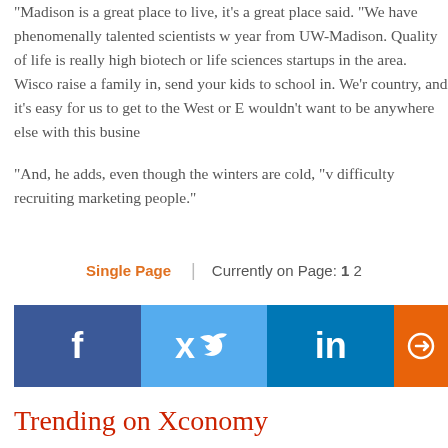“Madison is a great place to live, it’s a great place said. “We have phenomenally talented scientists w year from UW-Madison. Quality of life is really high biotech or life sciences startups in the area. Wisco raise a family in, send your kids to school in. We’r country, and it’s easy for us to get to the West or E wouldn’t want to be anywhere else with this busine
And, he adds, even though the winters are cold, “v difficulty recruiting marketing people.”
Single Page | Currently on Page: 1 2
[Figure (infographic): Social sharing bar with Facebook (dark blue), Twitter (light blue), LinkedIn (dark blue), and an orange button]
Trending on Xconomy